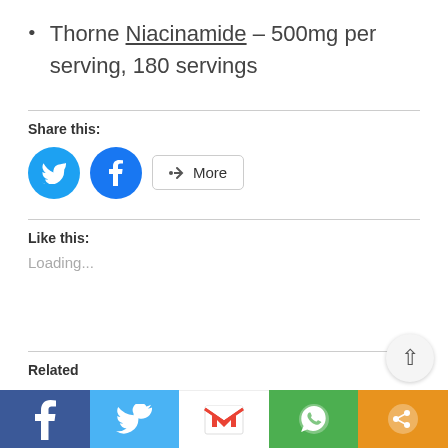Thorne Niacinamide – 500mg per serving, 180 servings
Share this:
[Figure (other): Twitter and Facebook circular share buttons, and a More button]
Like this:
Loading...
Related
[Figure (other): Bottom social share bar with Facebook, Twitter, Gmail, WhatsApp, and More icons]